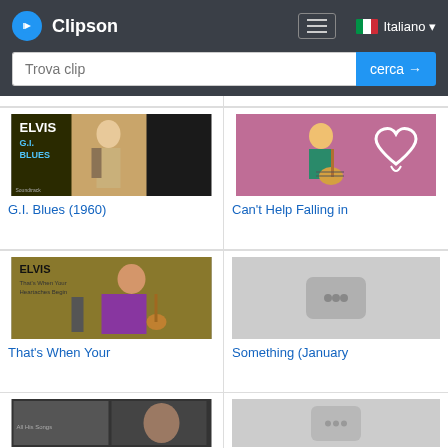[Figure (screenshot): Clipson website header with logo, hamburger menu, Italian flag language selector, and search bar with placeholder text 'Trova clip' and blue 'cerca →' button]
[Figure (photo): Elvis G.I. Blues (1960) album cover thumbnail]
G.I. Blues (1960)
[Figure (photo): Can't Help Falling in Love video thumbnail showing man playing guitar on pink background with heart]
Can't Help Falling in
[Figure (photo): Elvis That's When Your Heartaches Begin album cover thumbnail]
That's When Your
[Figure (other): Gray placeholder thumbnail with three dots icon for Something (January)]
Something (January
[Figure (photo): Partial thumbnail at bottom left showing Elvis collage]
[Figure (other): Partial gray placeholder thumbnail at bottom right]